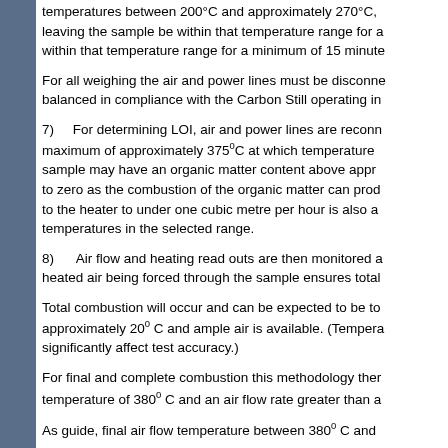temperatures between 200°C and approximately 270°C, leaving the sample be within that temperature range for a within that temperature range for a minimum of 15 minutes
For all weighing the air and power lines must be disconnected balanced in compliance with the Carbon Still operating instructions.
7)    For determining LOI, air and power lines are reconnected maximum of approximately 375°C at which temperature the sample may have an organic matter content above approximately to zero as the combustion of the organic matter can produce to the heater to under one cubic metre per hour is also advised temperatures in the selected range.
8)    Air flow and heating read outs are then monitored and heated air being forced through the sample ensures total
Total combustion will occur and can be expected to be to approximately 20°C and ample air is available. (Temperature significantly affect test accuracy.)
For final and complete combustion this methodology then temperature of 380°C and an air flow rate greater than a
As guide, final air flow temperature between 380°C and